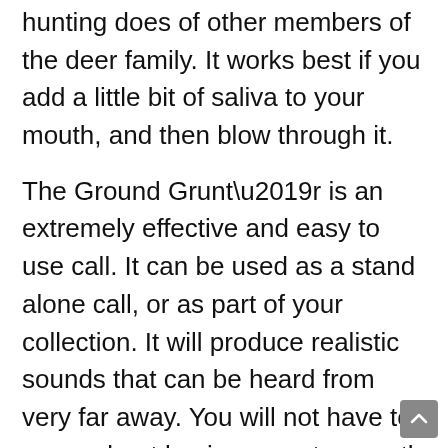hunting does of other members of the deer family. It works best if you add a little bit of saliva to your mouth, and then blow through it.
The Ground Grunt’r is an extremely effective and easy to use call. It can be used as a stand alone call, or as part of your collection. It will produce realistic sounds that can be heard from very far away. You will not have to worry about buying an extra mouth piece for this call because you use your own saliva to back up the sound.
Is It A Good Buy?
This product is one that I would tell my fellow hunters about, and recommend to other hunters. This is one of the best deer calls for the money and it has a great